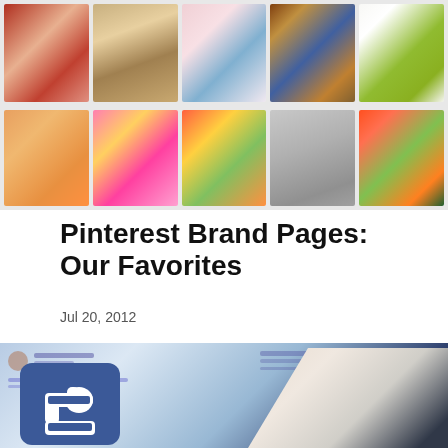[Figure (photo): Pinterest-style image grid showing two rows of photos: meat/food, dog, party scene, bookshelf, green shirt (row 1); skin/leg closeup, colorful bracelets, salad dish, two cats with sunglasses, flowers/vegetables (row 2)]
Pinterest Brand Pages: Our Favorites
Jul 20, 2012
[Figure (screenshot): Blurred Facebook page screenshot in the background with a large Facebook 'Like' thumbs up button/icon being pointed at by a hand in a suit, set against a blue-grey blurred social media interface]